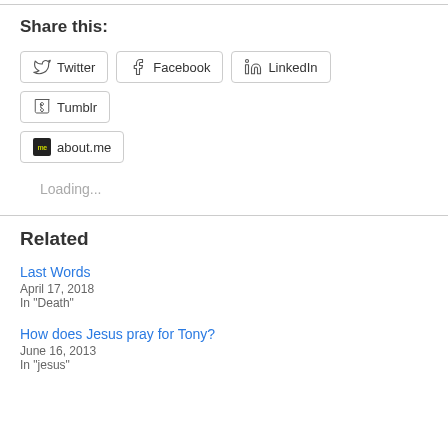Share this:
Twitter | Facebook | LinkedIn | Tumblr | about.me
Loading...
Related
Last Words
April 17, 2018
In "Death"
How does Jesus pray for Tony?
June 16, 2013
In "jesus"